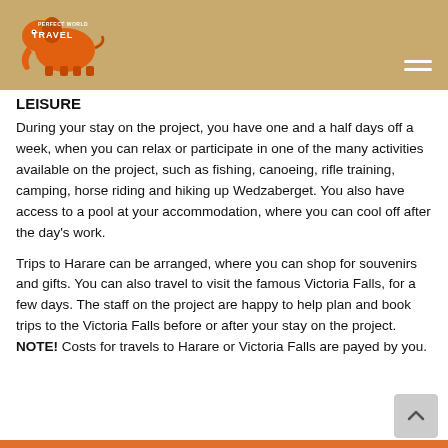Perfect World Travel
LEISURE
During your stay on the project, you have one and a half days off a week, when you can relax or participate in one of the many activities available on the project, such as fishing, canoeing, rifle training, camping, horse riding and hiking up Wedzaberget. You also have access to a pool at your accommodation, where you can cool off after the day's work.
Trips to Harare can be arranged, where you can shop for souvenirs and gifts. You can also travel to visit the famous Victoria Falls, for a few days. The staff on the project are happy to help plan and book trips to the Victoria Falls before or after your stay on the project. NOTE! Costs for travels to Harare or Victoria Falls are payed by you.